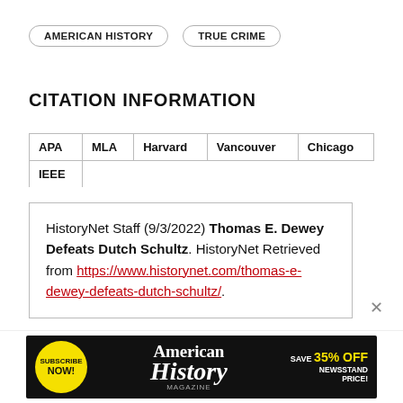AMERICAN HISTORY
TRUE CRIME
CITATION INFORMATION
| APA | MLA | Harvard | Vancouver | Chicago | IEEE |
| --- | --- | --- | --- | --- | --- |
HistoryNet Staff (9/3/2022) Thomas E. Dewey Defeats Dutch Schultz. HistoryNet Retrieved from https://www.historynet.com/thomas-e-dewey-defeats-dutch-schultz/.
[Figure (infographic): American History Magazine advertisement banner with yellow Subscribe Now bubble, American History magazine title in white serif font on black background, and Save 35% Off Newsstand Price text in yellow and white.]